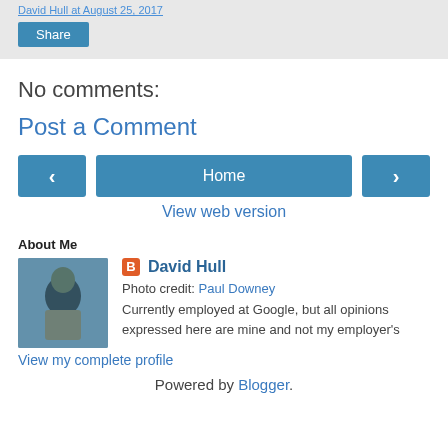David Hull at August 25, 2017
Share
No comments:
Post a Comment
Home
View web version
About Me
[Figure (photo): Profile photo of David Hull]
David Hull
Photo credit: Paul Downey
Currently employed at Google, but all opinions expressed here are mine and not my employer's
View my complete profile
Powered by Blogger.